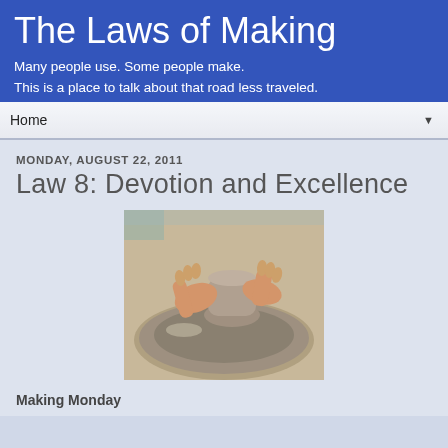The Laws of Making
Many people use. Some people make.
This is a place to talk about that road less traveled.
Home
MONDAY, AUGUST 22, 2011
Law 8: Devotion and Excellence
[Figure (photo): Hands shaping clay on a pottery wheel, showing wet clay being formed into a vessel]
Making Monday